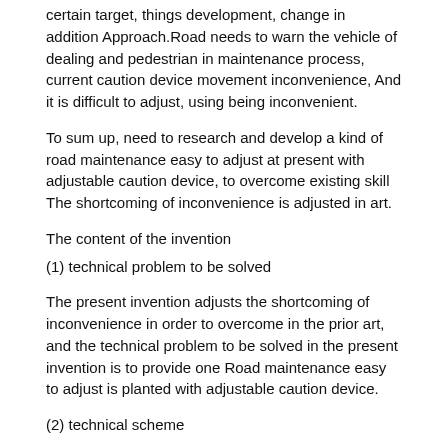certain target, things development, change in addition Approach.Road needs to warn the vehicle of dealing and pedestrian in maintenance process, current caution device movement inconvenience, And it is difficult to adjust, using being inconvenient.
To sum up, need to research and develop a kind of road maintenance easy to adjust at present with adjustable caution device, to overcome existing skill The shortcoming of inconvenience is adjusted in art.
The content of the invention
(1) technical problem to be solved
The present invention adjusts the shortcoming of inconvenience in order to overcome in the prior art, and the technical problem to be solved in the present invention is to provide one Road maintenance easy to adjust is planted with adjustable caution device.
(2) technical scheme
In order to solve the above-mentioned technical problem, the invention provides such a road maintenance adjustable